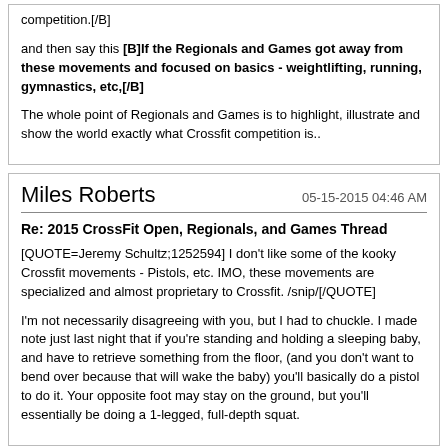competition.[/B]

and then say this [B]If the Regionals and Games got away from these movements and focused on basics - weightlifting, running, gymnastics, etc,[/B]

The whole point of Regionals and Games is to highlight, illustrate and show the world exactly what Crossfit competition is..
Miles Roberts
05-15-2015 04:46 AM
Re: 2015 CrossFit Open, Regionals, and Games Thread
[QUOTE=Jeremy Schultz;1252594] I don't like some of the kooky Crossfit movements - Pistols, etc. IMO, these movements are specialized and almost proprietary to Crossfit. /snip/[/QUOTE]

I'm not necessarily disagreeing with you, but I had to chuckle. I made note just last night that if you're standing and holding a sleeping baby, and have to retrieve something from the floor, (and you don't want to bend over because that will wake the baby) you'll basically do a pistol to do it. Your opposite foot may stay on the ground, but you'll essentially be doing a 1-legged, full-depth squat.
Christopher Morris
05-15-2015 07:26 AM
Re: 2015 CrossFit Open, Regionals, and Games Thr...